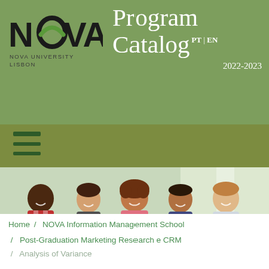[Figure (logo): NOVA University Lisbon logo with text 'NOVA UNIVERSITY LISBON']
Program Catalog PT | EN 2022-2023
[Figure (photo): Group of five smiling diverse university students in a bright indoor setting. Banner reads: TOP 10 IN EUROPE AMONG YOUNG UNIVERSITIES]
Home / NOVA Information Management School / Post-Graduation Marketing Research e CRM / Analysis of Variance